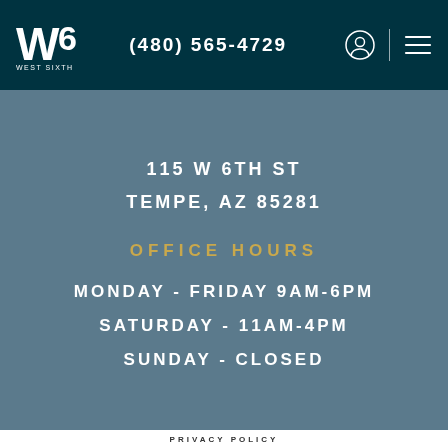W6 WEST SIXTH | (480) 565-4729
115 W 6TH ST
TEMPE, AZ 85281
OFFICE HOURS
MONDAY - FRIDAY 9AM-6PM
SATURDAY - 11AM-4PM
SUNDAY - CLOSED
PRIVACY POLICY